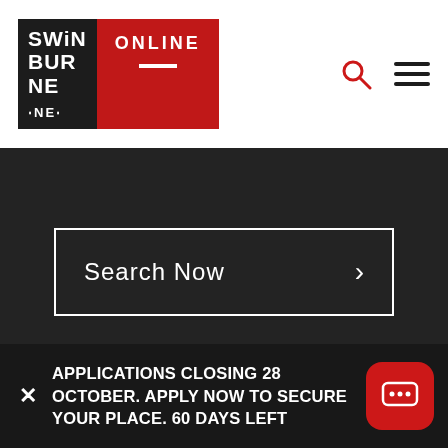[Figure (logo): Swinburne Online logo — black square with white text SwinBurNe and red panel with white text ONLINE and a horizontal white dash]
[Figure (infographic): Search icon (magnifying glass) in red and hamburger menu icon in dark, top right of header]
Search Now >
I'm interested in studying an
APPLICATIONS CLOSING 28 OCTOBER. APPLY NOW TO SECURE YOUR PLACE. 60 DAYS LEFT